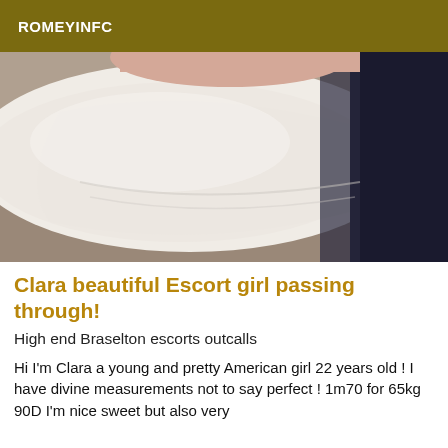ROMEYINFC
[Figure (photo): Close-up photo of a white pillow or cushion on what appears to be a bed, with dark fabric visible on the right side]
Clara beautiful Escort girl passing through!
High end Braselton escorts outcalls
Hi I'm Clara a young and pretty American girl 22 years old ! I have divine measurements not to say perfect ! 1m70 for 65kg 90D I'm nice sweet but also very